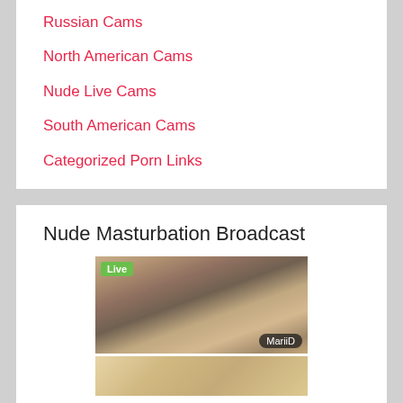Russian Cams
North American Cams
Nude Live Cams
South American Cams
Categorized Porn Links
Live Chat Access
Nude Masturbation Broadcast
[Figure (photo): Live webcam thumbnail showing a person, with a green 'Live' badge in the top-left corner and a dark pill-shaped label 'MariiD' in the bottom-right corner.]
[Figure (photo): Partial webcam thumbnail visible at the bottom of the page.]